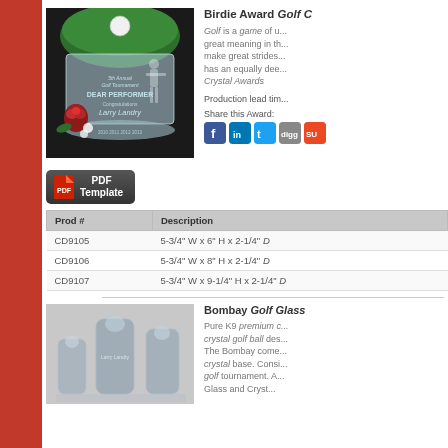[Figure (photo): Birdie Award Golf Crystal trophy with green top and golf ball, personalized with 'Larry Landry']
Birdie Award Golf C...
Golf is a game of u... great meaning in th... make great strides... has an equally dee... Crystal Awards
Production lead tim...
Share this Award:
[Figure (screenshot): PDF Template button]
| Prod # | Description |
| --- | --- |
| CD9105 | 5-3/4" W x 6" H x 2-1/4" D |
| CD9106 | 5-3/4" W x 8" H x 2-1/4" D |
| CD9107 | 5-3/4" W x 9-1/4" H x 2-1/4" D |
[Figure (photo): Bombay Golf Glass crystal awards in different sizes]
Bombay Golf Glass...
Pure K9 premium c... crystal golf ball des... The Bombay come... crystal base. Consi... golf tournament. A... Glass and Cryst...